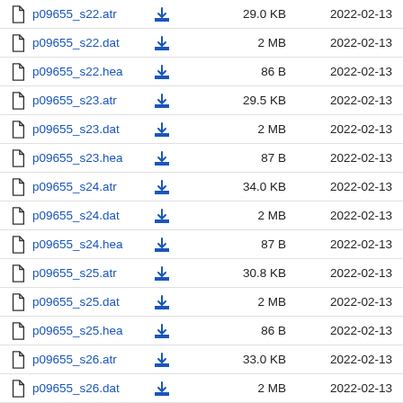p09655_s22.atr  29.0 KB  2022-02-13
p09655_s22.dat  2 MB  2022-02-13
p09655_s22.hea  86 B  2022-02-13
p09655_s23.atr  29.5 KB  2022-02-13
p09655_s23.dat  2 MB  2022-02-13
p09655_s23.hea  87 B  2022-02-13
p09655_s24.atr  34.0 KB  2022-02-13
p09655_s24.dat  2 MB  2022-02-13
p09655_s24.hea  87 B  2022-02-13
p09655_s25.atr  30.8 KB  2022-02-13
p09655_s25.dat  2 MB  2022-02-13
p09655_s25.hea  86 B  2022-02-13
p09655_s26.atr  33.0 KB  2022-02-13
p09655_s26.dat  2 MB  2022-02-13